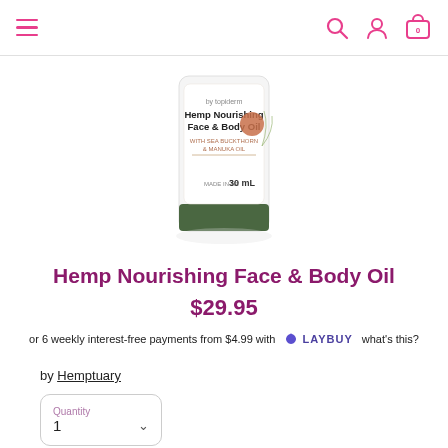Navigation bar with hamburger menu, search, user, and cart icons
[Figure (photo): Product bottle of Hemp Nourishing Face & Body Oil by Topiderm, 30 mL, with green base and white label, on white background]
Hemp Nourishing Face & Body Oil
$29.95
or 6 weekly interest-free payments from $4.99 with LAYBUY  what's this?
by Hemptuary
Quantity 1